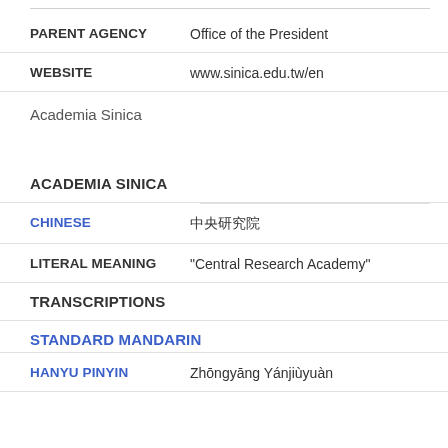PARENT AGENCY  Office of the President
WEBSITE  www.sinica.edu.tw/en
Academia Sinica
ACADEMIA SINICA
CHINESE  中央研究院
LITERAL MEANING  "Central Research Academy"
TRANSCRIPTIONS
STANDARD MANDARIN
HANYU PINYIN  Zhōngyāng Yánjiùyuàn